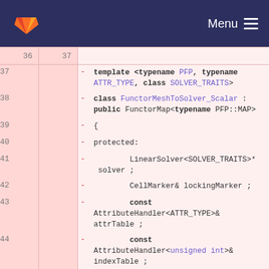GitLab Menu
36  37
37     - template <typename PFP, typename ATTR_TYPE, class SOLVER_TRAITS>
38     - class FunctorMeshToSolver_Scalar : public FunctorMap<typename PFP::MAP>
39     - {
40     - protected:
41     -         LinearSolver<SOLVER_TRAITS>* solver ;
42     -         CellMarker& lockingMarker ;
43     -         const AttributeHandler<ATTR_TYPE>& attrTable ;
44     -         const AttributeHandler<unsigned int>& indexTable ;
45     -         bool lockedVertices ;
46     - 
47     - public:
48     -         typedef typename PFP::MAP